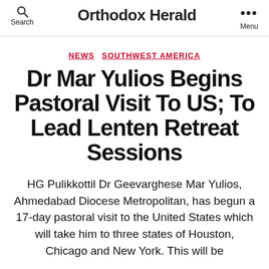Orthodox Herald
NEWS  SOUTHWEST AMERICA
Dr Mar Yulios Begins Pastoral Visit To US; To Lead Lenten Retreat Sessions
HG Pulikkottil Dr Geevarghese Mar Yulios, Ahmedabad Diocese Metropolitan, has begun a 17-day pastoral visit to the United States which will take him to three states of Houston, Chicago and New York. This will be